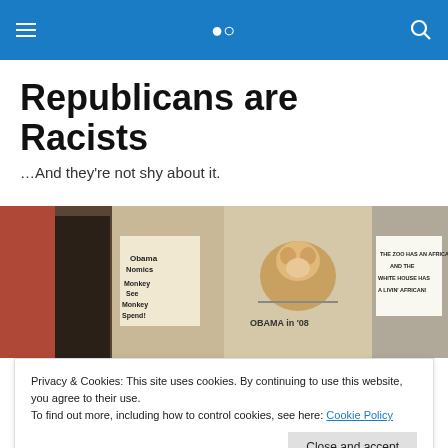Navigation header with menu and search icons
Republicans are Racists
…And they're not shy about it.
[Figure (photo): Strip of four protest/rally photos showing racist imagery and signs referencing Obama]
POSTED IN REPUBLICAN CANDIDATES
Privacy & Cookies: This site uses cookies. By continuing to use this website, you agree to their use.
To find out more, including how to control cookies, see here: Cookie Policy
Close and accept